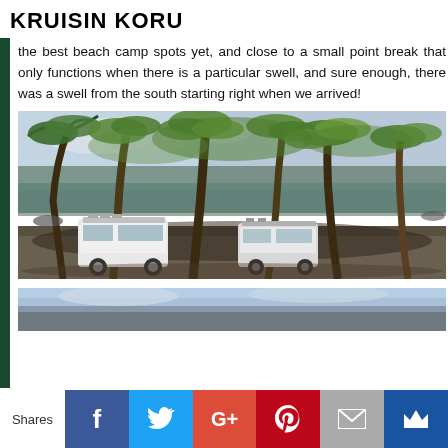KRUISIN KORU
the best beach camp spots yet, and close to a small point break that only functions when there is a particular swell, and sure enough, there was a swell from the south starting right when we arrived!
[Figure (photo): Two white vans parked on a sandy beach under tall palm trees, with ocean visible in the background]
[Figure (photo): Partial view of a second beach scene, sky and water visible]